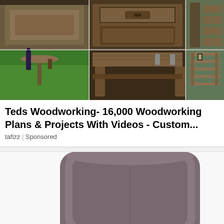[Figure (photo): Collage of woodworking projects: wine table, folding wine caddy, coffee table with drawer, workbench, wall-mounted planter shelves made from wood]
Teds Woodworking- 16,000 Woodworking Plans & Projects With Videos - Custom...
tafizz | Sponsored
[Figure (photo): Close-up photo of a dark grayish-brown upholstered recliner chair with a rounded back and wide armrests]